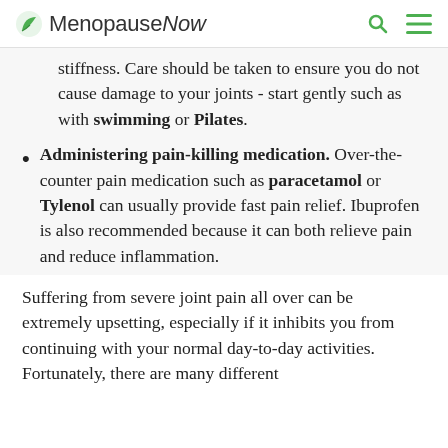MenopauseNow
stiffness. Care should be taken to ensure you do not cause damage to your joints - start gently such as with swimming or Pilates.
Administering pain-killing medication. Over-the-counter pain medication such as paracetamol or Tylenol can usually provide fast pain relief. Ibuprofen is also recommended because it can both relieve pain and reduce inflammation.
Suffering from severe joint pain all over can be extremely upsetting, especially if it inhibits you from continuing with your normal day-to-day activities. Fortunately, there are many different